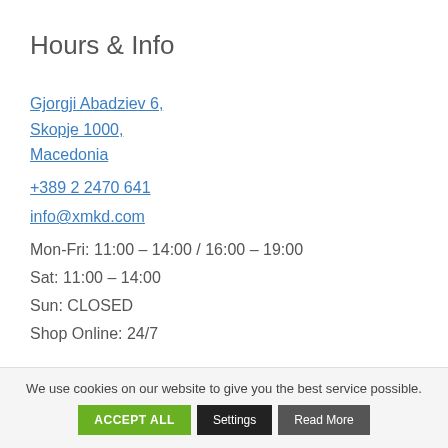Hours & Info
Gjorgji Abadziev 6, Skopje 1000, Macedonia
+389 2 2470 641
info@xmkd.com
Mon-Fri: 11:00 – 14:00 / 16:00 – 19:00
Sat: 11:00 – 14:00
Sun: CLOSED
Shop Online: 24/7
We use cookies on our website to give you the best service possible.